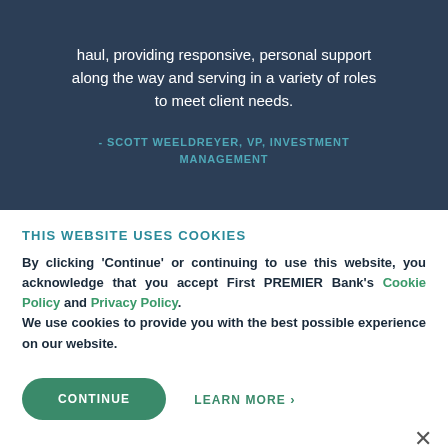haul, providing responsive, personal support along the way and serving in a variety of roles to meet client needs.
- SCOTT WEELDREYER, VP, INVESTMENT MANAGEMENT
THIS WEBSITE USES COOKIES
By clicking 'Continue' or continuing to use this website, you acknowledge that you accept First PREMIER Bank's Cookie Policy and Privacy Policy. We use cookies to provide you with the best possible experience on our website.
CONTINUE
LEARN MORE >